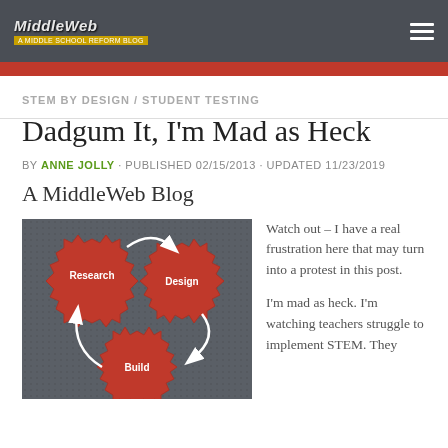MiddleWeb — A Middle School Reform Blog
STEM BY DESIGN / STUDENT TESTING
Dadgum It, I'm Mad as Heck
BY ANNE JOLLY · PUBLISHED 02/15/2013 · UPDATED 11/23/2019
A MiddleWeb Blog
[Figure (illustration): Red gear/cog icons labeled Research, Design, and Build on a dark gray textured background with white arrows indicating a cycle between them.]
Watch out – I have a real frustration here that may turn into a protest in this post.

I'm mad as heck. I'm watching teachers struggle to implement STEM. They